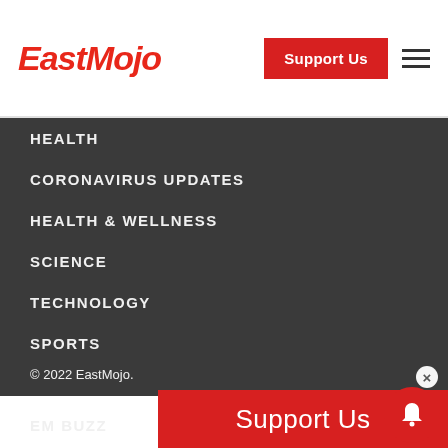EastMojo — Support Us navigation header
HEALTH
CORONAVIRUS UPDATES
HEALTH & WELLNESS
SCIENCE
TECHNOLOGY
SPORTS
CAREER
EM BUZZ
TENDER
© 2022 EastMojo.
Support Us